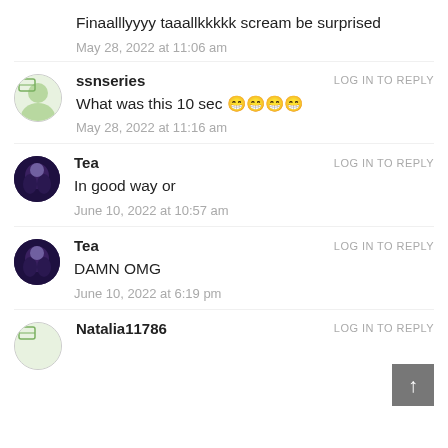Finaalllyyyy taaallkkkkk scream be surprised
May 28, 2022 at 11:06 am
ssnseries
LOG IN TO REPLY
What was this 10 sec 😁😁😁😁
May 28, 2022 at 11:16 am
Tea
LOG IN TO REPLY
In good way or
June 10, 2022 at 10:57 am
Tea
LOG IN TO REPLY
DAMN OMG
June 10, 2022 at 6:19 pm
Natalia11786
LOG IN TO REPLY